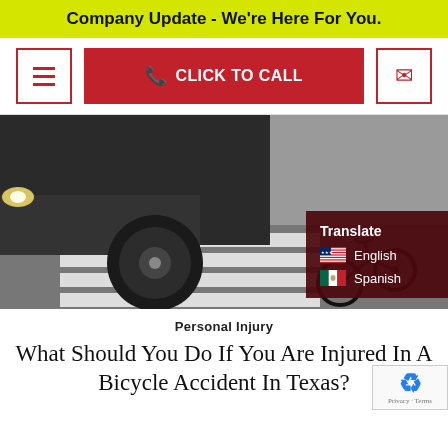Company Update - We're Here For You.
[Figure (screenshot): Navigation bar with hamburger menu button, red CLICK TO CALL button, and email envelope button]
[Figure (photo): Car and fallen bicycle on a pedestrian crossing/crosswalk after an accident, with a translate overlay showing English and Spanish options]
Personal Injury
What Should You Do If You Are Injured In A Bicycle Accident In Texas?